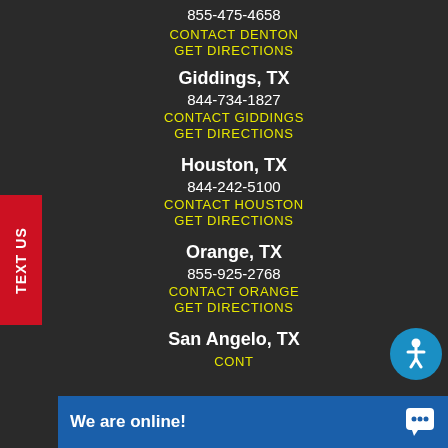855-475-4658
CONTACT DENTON
GET DIRECTIONS
Giddings, TX
844-734-1827
CONTACT GIDDINGS
GET DIRECTIONS
Houston, TX
844-242-5100
CONTACT HOUSTON
GET DIRECTIONS
Orange, TX
855-925-2768
CONTACT ORANGE
GET DIRECTIONS
San Angelo, TX
CONT...
TEXT US
We are online!